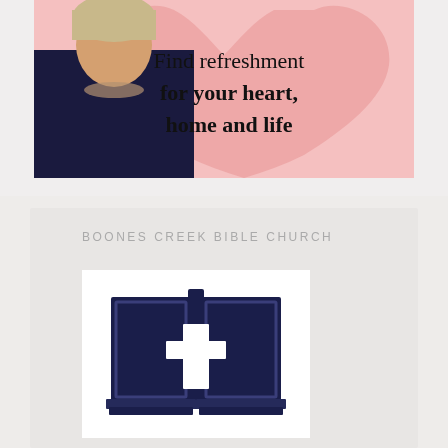[Figure (illustration): Promotional banner with pink background, large painted heart shape, a woman in a dark navy top with a statement necklace, and text reading 'Find refreshment for your heart, home and life']
BOONES CREEK BIBLE CHURCH
[Figure (logo): Boones Creek Bible Church logo: an open dark navy blue Bible book with a white cross on the spine, on a white background]